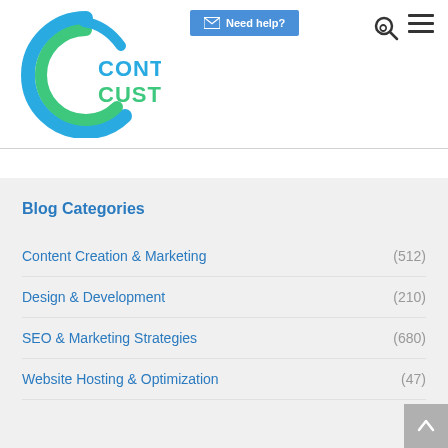[Figure (logo): Content Customs logo with blue and green swirl/C shape and stylized text CONTENT CUSTOMS in teal/blue]
Need help?
Blog Categories
Content Creation & Marketing (512)
Design & Development (210)
SEO & Marketing Strategies (680)
Website Hosting & Optimization (47)